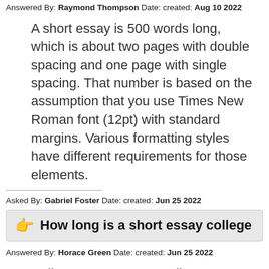Answered By: Raymond Thompson Date: created: Aug 10 2022
A short essay is 500 words long, which is about two pages with double spacing and one page with single spacing. That number is based on the assumption that you use Times New Roman font (12pt) with standard margins. Various formatting styles have different requirements for those elements.
Asked By: Gabriel Foster Date: created: Jun 25 2022
How long is a short essay college
Answered By: Horace Green Date: created: Jun 25 2022
College essays are usually pretty short: between 200 and 650 words.